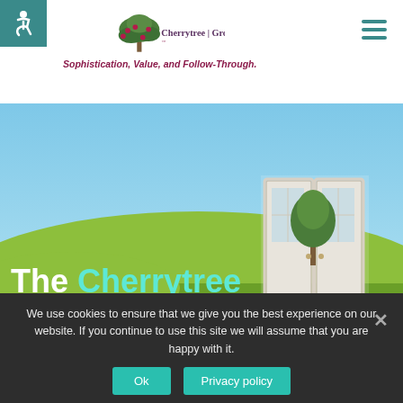[Figure (logo): Accessibility wheelchair icon in teal square]
[Figure (logo): Cherrytree Group logo with cherry tree illustration, company name and tagline 'Sophistication, Value, and Follow-Through.']
[Figure (illustration): Hero banner showing green grassy field under blue sky with open white double doors and a tree inside, text overlay reads 'The Cherrytree Group.']
The Cherrytree Group.
We use cookies to ensure that we give you the best experience on our website. If you continue to use this site we will assume that you are happy with it.
Ok
Privacy policy